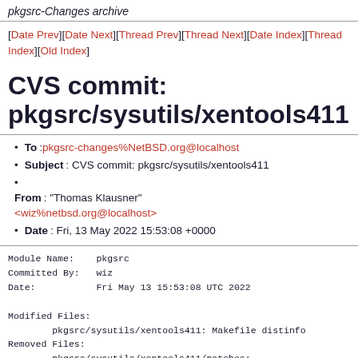pkgsrc-Changes archive
[Date Prev][Date Next][Thread Prev][Thread Next][Date Index][Thread Index][Old Index]
CVS commit: pkgsrc/sysutils/xentools411
To: pkgsrc-changes%NetBSD.org@localhost
Subject: CVS commit: pkgsrc/sysutils/xentools411
From: "Thomas Klausner" <wiz%netbsd.org@localhost>
Date: Fri, 13 May 2022 15:53:08 +0000
Module Name:	pkgsrc
Committed By:	wiz
Date:		Fri May 13 15:53:08 UTC 2022

Modified Files:
	pkgsrc/sysutils/xentools411: Makefile distinfo
Removed Files:
	pkgsrc/sysutils/xentools411/patches: